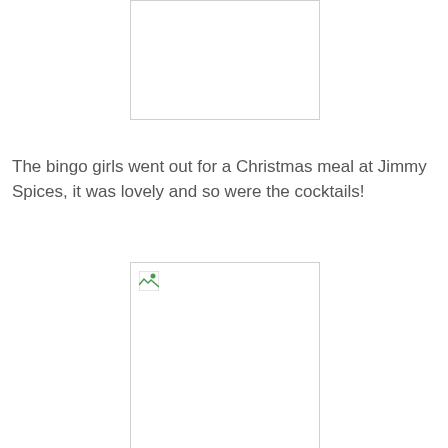[Figure (photo): Image placeholder — broken/missing image, top centered position]
The bingo girls went out for a Christmas meal at Jimmy Spices, it was lovely and so were the cocktails!
[Figure (photo): Image placeholder — broken/missing image with small icon, bottom centered position]